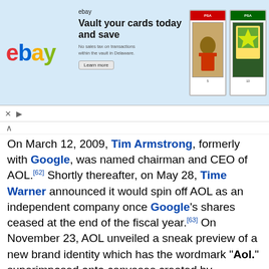[Figure (screenshot): eBay advertisement banner featuring eBay logo, tagline 'Vault your cards today and save', and images of collectible trading cards in PSA cases]
On March 12, 2009, Tim Armstrong, formerly with Google, was named chairman and CEO of AOL.[62] Shortly thereafter, on May 28, Time Warner announced it would spin off AOL as an independent company once Google's shares ceased at the end of the fiscal year.[63] On November 23, AOL unveiled a sneak preview of a new brand identity which has the wordmark "Aol." superimposed onto canvases created by commissioned artists. The new identity, designed by Wolff Olins,[64] was enacted onto all of AOL's services on December 10, the date AOL traded independently for the first time since the Time Warner merger on the New York Stock Exchange under the symbol AOL.[65]